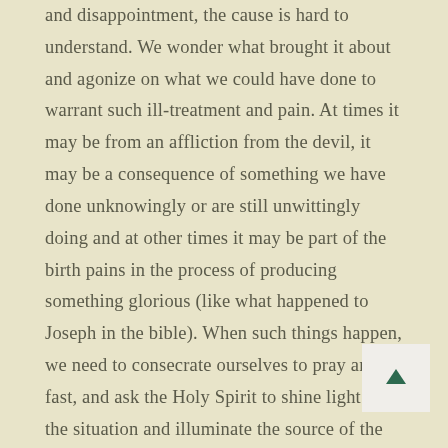and disappointment, the cause is hard to understand. We wonder what brought it about and agonize on what we could have done to warrant such ill-treatment and pain. At times it may be from an affliction from the devil, it may be a consequence of something we have done unknowingly or are still unwittingly doing and at other times it may be part of the birth pains in the process of producing something glorious (like what happened to Joseph in the bible). When such things happen, we need to consecrate ourselves to pray and fast, and ask the Holy Spirit to shine light into the situation and illuminate the source of the problem. We need to search the word and apply God's promises to the situation and pronounce it daily.